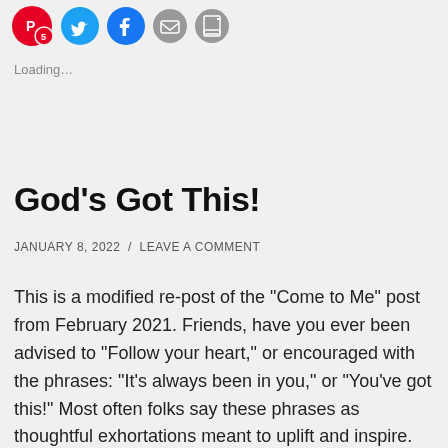[Figure (other): Social sharing icons row: Pinterest (red, with count 5), Twitter (blue), Facebook (blue), Email (envelope, grey), Print (printer, grey)]
Loading...
God’s Got This!
JANUARY 8, 2022 / LEAVE A COMMENT
This is a modified re-post of the “Come to Me” post from February 2021. Friends, have you ever been advised to “Follow your heart,” or encouraged with the phrases: “It’s always been in you,” or “You’ve got this!” Most often folks say these phrases as thoughtful exhortations meant to uplift and inspire. However, should we?? …